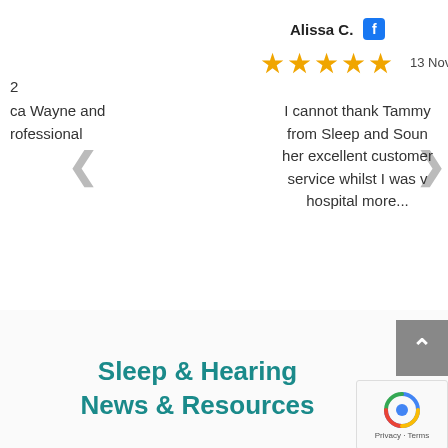2
Alissa C.
13 Nov 202
[Figure (other): Five gold star rating]
ca Wayne and rofessional
I cannot thank Tammy from Sleep and Soun her excellent customer service whilst I was v hospital more...
Sleep & Hearing
News & Resources
[Figure (other): reCAPTCHA widget with Privacy and Terms links]